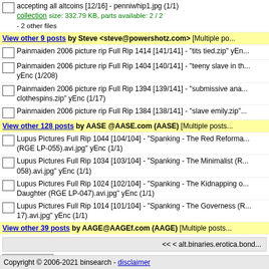accepting all altcoins [12/16] - penniwhip1.jpg (1/1)
collection size: 332.79 KB, parts available: 2 / 2
- 2 other files
View other 9 posts by Steve <steve@powershotz.com> [Multiple po...
Painmaiden 2006 picture rip Full Rip 1414 [141/141] - "tits tied.zip" yEn...
Painmaiden 2006 picture rip Full Rip 1404 [140/141] - "teeny slave in th... yEnc (1/208)
Painmaiden 2006 picture rip Full Rip 1394 [139/141] - "submissive ana... clothespins.zip" yEnc (1/17)
Painmaiden 2006 picture rip Full Rip 1384 [138/141] - "slave emily.zip"...
View other 128 posts by AASE @AASE.com (AASE) [Multiple posts...
Lupus Pictures Full Rip 1044 [104/104] - "Spanking - The Red Reforma... (RGE LP-055).avi.jpg" yEnc (1/1)
Lupus Pictures Full Rip 1034 [103/104] - "Spanking - The Minimalist (R... 058).avi.jpg" yEnc (1/1)
Lupus Pictures Full Rip 1024 [102/104] - "Spanking - The Kidnapping o... Daughter (RGE LP-047).avi.jpg" yEnc (1/1)
Lupus Pictures Full Rip 1014 [101/104] - "Spanking - The Governess (R... 17).avi.jpg" yEnc (1/1)
View other 39 posts by AAGE@AAGEf.com (AAGE) [Multiple posts...
<< < alt.binaries.erotica.bond...
Create NZB
Copyright © 2006-2021 binsearch - disclaimer